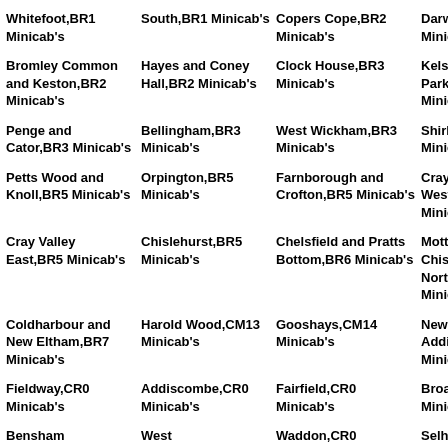Whitefoot,BR1 Minicab's
South,BR1 Minicab's
Copers Cope,BR2 Minicab's
Darwin,BR2 Minicab's
Bromley Common and Keston,BR2 Minicab's
Hayes and Coney Hall,BR2 Minicab's
Clock House,BR3 Minicab's
Kelsey and Eden Park,BR3 Minicab's
Penge and Cator,BR3 Minicab's
Bellingham,BR3 Minicab's
West Wickham,BR3 Minicab's
Shirley,BR3 Minicab's
Petts Wood and Knoll,BR5 Minicab's
Orpington,BR5 Minicab's
Farnborough and Crofton,BR5 Minicab's
Cray Valley West,BR5 Minicab's
Cray Valley East,BR5 Minicab's
Chislehurst,BR5 Minicab's
Chelsfield and Pratts Bottom,BR6 Minicab's
Mottingham and Chislehurst North,BR7 Minicab's
Coldharbour and New Eltham,BR7 Minicab's
Harold Wood,CM13 Minicab's
Gooshays,CM14 Minicab's
New Addington,CR0 Minicab's
Fieldway,CR0 Minicab's
Addiscombe,CR0 Minicab's
Fairfield,CR0 Minicab's
Broad Green,CR0 Minicab's
Bensham
West
Waddon,CR0
Selhurst,CR0